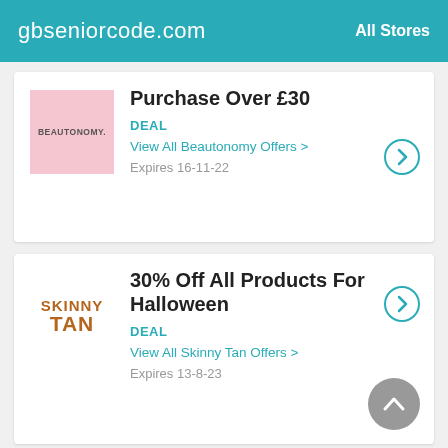gbseniorcode.com  All Stores
Purchase Over £30
DEAL
View All Beautonomy Offers >
Expires 16-11-22
30% Off All Products For Halloween
DEAL
View All Skinny Tan Offers >
Expires 13-8-23
£25 And Get F…